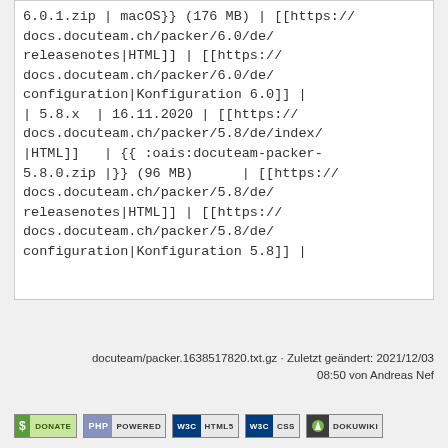6.0.1.zip | macOS}} (176 MB) | [[https://docs.docuteam.ch/packer/6.0/de/releasenotes|HTML]] | [[https://docs.docuteam.ch/packer/6.0/de/configuration|Konfiguration 6.0]] |
| 5.8.x  | 16.11.2020 | [[https://docs.docuteam.ch/packer/5.8/de/index/|HTML]]   | {{ :oais:docuteam-packer-5.8.0.zip |}} (96 MB)     | [[https://docs.docuteam.ch/packer/5.8/de/releasenotes|HTML]] | [[https://docs.docuteam.ch/packer/5.8/de/configuration|Konfiguration 5.8]] |
docuteam/packer.1638517820.txt.gz · Zuletzt geändert: 2021/12/03 08:50 von Andreas Nef
[Figure (other): Row of five badges: Donate, PHP Powered, WSC HTML5, WSC CSS, DokuWiki]